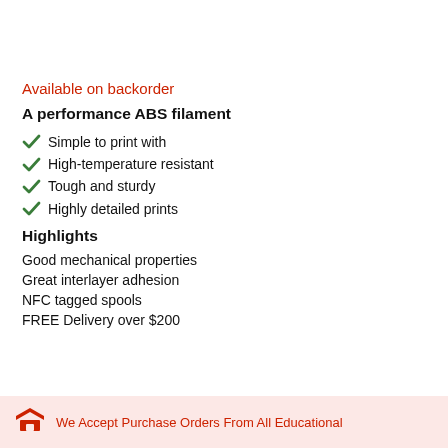Available on backorder
A performance ABS filament
Simple to print with
High-temperature resistant
Tough and sturdy
Highly detailed prints
Highlights
Good mechanical properties
Great interlayer adhesion
NFC tagged spools
FREE Delivery over $200
We Accept Purchase Orders From All Educational